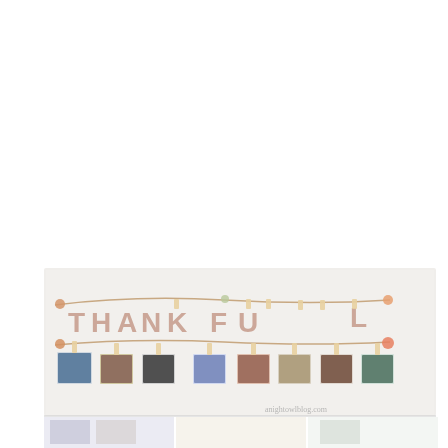[Figure (photo): A horizontal banner display on a wall showing the word THANKFUL spelled out in large rose-gold/copper letters hung on a twine rope with clothespins. Below the letters, a second rope holds 8 small photographs clipped with clothespins. Small shell or bead accents appear at the ends and middle of the ropes. A watermark reads 'anightowlblog.com' at the bottom right. Below the main image is a partially visible strip showing reflections or close-up portions of the photos.]